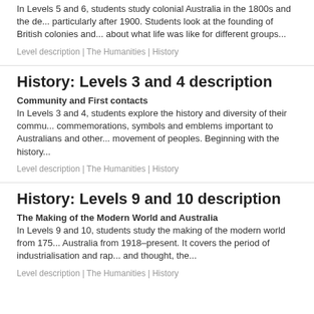In Levels 5 and 6, students study colonial Australia in the 1800s and the de... particularly after 1900. Students look at the founding of British colonies and... about what life was like for different groups...
Level description | The Humanities | History
History: Levels 3 and 4 description
Community and First contacts
In Levels 3 and 4, students explore the history and diversity of their commu... commemorations, symbols and emblems important to Australians and other... movement of peoples. Beginning with the history...
Level description | The Humanities | History
History: Levels 9 and 10 description
The Making of the Modern World and Australia
In Levels 9 and 10, students study the making of the modern world from 175... Australia from 1918–present. It covers the period of industrialisation and rap... and thought, the...
Level description | The Humanities | History